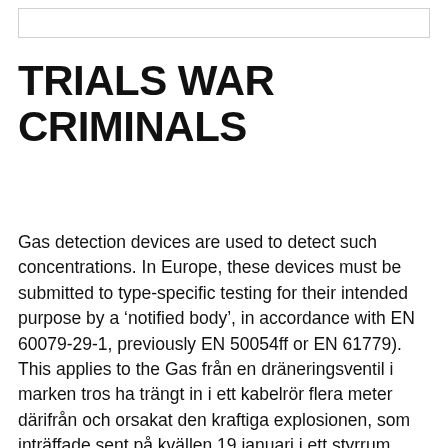[Figure (other): Empty white rectangle with thin gray border at top of page]
TRIALS WAR CRIMINALS
Gas detection devices are used to detect such concentrations. In Europe, these devices must be submitted to type-specific testing for their intended purpose by a ‘notified body’, in accordance with EN 60079-29-1, previously EN 50054ff or EN 61779). This applies to the Gas från en dräneringsventil i marken tros ha trängt in i ett kabelrör flera meter därifrån och orsakat den kraftiga explosionen, som inträffade sent på kvällen 19 januari i ett styrrum TUKA Gas Lift for Office Chair Boss Chair, 8.6" Gas lift Total length 330-400 mm Stock...